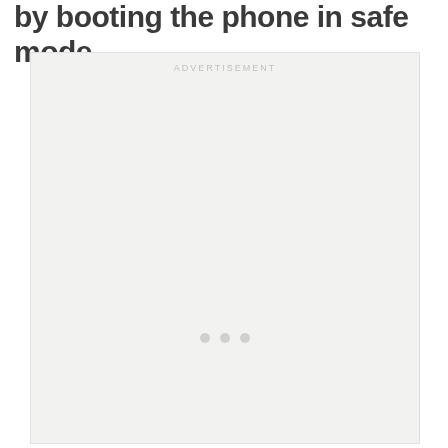by booting the phone in safe mode
[Figure (other): Advertisement placeholder box with 'ADVERTISEMENT' label and three dots loading indicator]